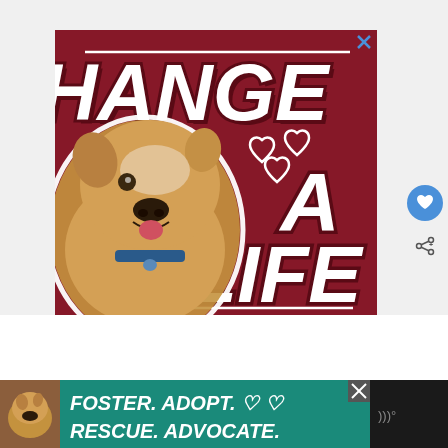[Figure (illustration): Animal adoption advertisement banner with dark red/maroon background. Shows a tan/golden pit bull dog on the left side with white cloud-style cutout border. Bold white italic text reads 'CHANGE A LIFE' with decorative hearts. White horizontal lines above and below text.]
[Figure (illustration): Bottom banner advertisement for animal rescue in teal/green color. Shows a pit bull dog thumbnail on left, bold white italic text reading 'FOSTER. ADOPT. RESCUE. ADVOCATE.' with small heart outlines. Dark right section with audio/video controls.]